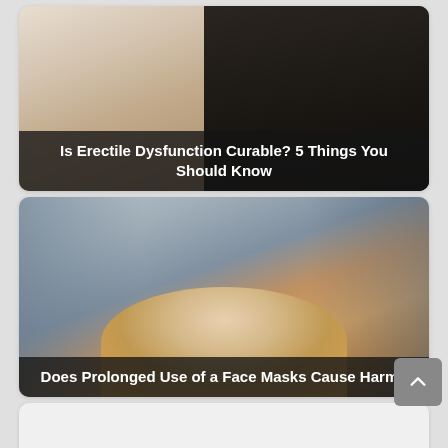[Figure (photo): A man with his head in his hands and a woman sitting apart from him on a bed, suggesting relationship distress. Text overlay reads: Is Erectile Dysfunction Curable? 5 Things You Should Know]
Is Erectile Dysfunction Curable? 5 Things You Should Know
[Figure (photo): A young woman with reddish hair holding a white face mask up to her face in an indoor setting. Text overlay reads: Does Prolonged Use of a Face Masks Cause Harm?]
Does Prolonged Use of a Face Masks Cause Harm?